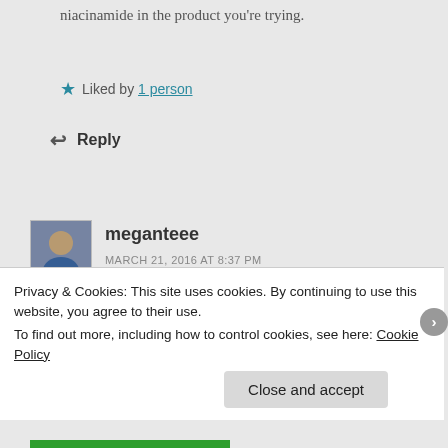niacinamide in the product you're trying.
★ Liked by 1 person
↩ Reply
[Figure (photo): Avatar photo of commenter meganteee, a woman in blue]
meganteee
MARCH 21, 2016 AT 8:37 PM
That's a good thought— I probably should let them know. This is the first time I've tried Valentia, but I like it so far especially for the ingredients including the niacinamide! They also have another serum on
Privacy & Cookies: This site uses cookies. By continuing to use this website, you agree to their use.
To find out more, including how to control cookies, see here: Cookie Policy
Close and accept